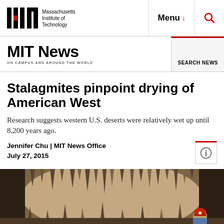Massachusetts Institute of Technology — Menu — Search
MIT News — ON CAMPUS AND AROUND THE WORLD — SEARCH NEWS
Stalagmites pinpoint drying of American West
Research suggests western U.S. deserts were relatively wet up until 8,200 years ago.
Jennifer Chu | MIT News Office
July 27, 2015
[Figure (photo): Researchers in a cave with stalactites and stalagmites hanging from ceiling, one person wearing a red helmet visible in lower right]